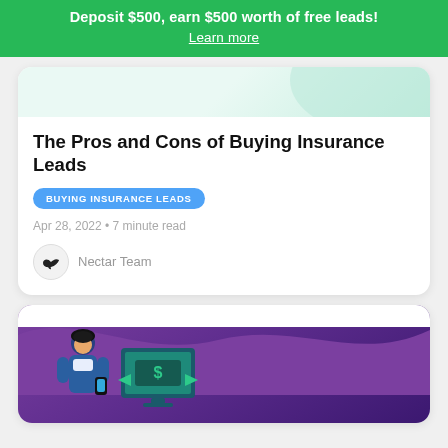Deposit $500, earn $500 worth of free leads! Learn more
[Figure (illustration): Partial top card with light teal/green abstract background illustration]
The Pros and Cons of Buying Insurance Leads
BUYING INSURANCE LEADS
Apr 28, 2022 • 7 minute read
Nectar Team
[Figure (illustration): Partial bottom card showing purple background with a cartoon person holding a phone and a device with arrows, illustrating insurance lead buying concept]